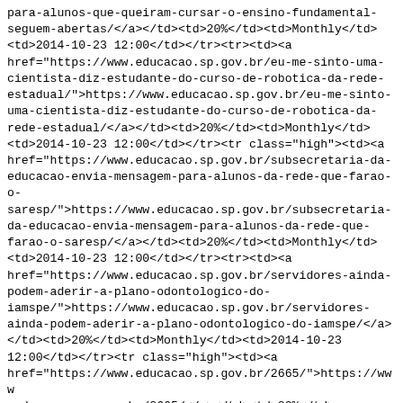para-alunos-que-queiram-cursar-o-ensino-fundamental-seguem-abertas/</a></td><td>20%</td><td>Monthly</td><td>2014-10-23 12:00</td></tr><tr><td><a href="https://www.educacao.sp.gov.br/eu-me-sinto-uma-cientista-diz-estudante-do-curso-de-robotica-da-rede-estadual/">https://www.educacao.sp.gov.br/eu-me-sinto-uma-cientista-diz-estudante-do-curso-de-robotica-da-rede-estadual/</a></td><td>20%</td><td>Monthly</td><td>2014-10-23 12:00</td></tr><tr class="high"><td><a href="https://www.educacao.sp.gov.br/subsecretaria-da-educacao-envia-mensagem-para-alunos-da-rede-que-farao-o-saresp/">https://www.educacao.sp.gov.br/subsecretaria-da-educacao-envia-mensagem-para-alunos-da-rede-que-farao-o-saresp/</a></td><td>20%</td><td>Monthly</td><td>2014-10-23 12:00</td></tr><tr><td><a href="https://www.educacao.sp.gov.br/servidores-ainda-podem-aderir-a-plano-odontologico-do-iamspe/">https://www.educacao.sp.gov.br/servidores-ainda-podem-aderir-a-plano-odontologico-do-iamspe/</a></td><td>20%</td><td>Monthly</td><td>2014-10-23 12:00</td></tr><tr class="high"><td><a href="https://www.educacao.sp.gov.br/2665/">https://www.educacao.sp.gov.br/2665/</a></td><td>20%</td><td>Monthly</td><td>2014-10-22 18:31</td></tr><tr><td><a href="https://www.educacao.sp.gov.br/rede-estadual-arrecada-em-seis-anos-mais-de-10-milhoes-de-pecas-para-a-campanha-do-agasalho/">https://www.educacao.sp.gov.br/rede-estadual-arrecada-em-seis-anos-mais-de-10-milhoes-de-